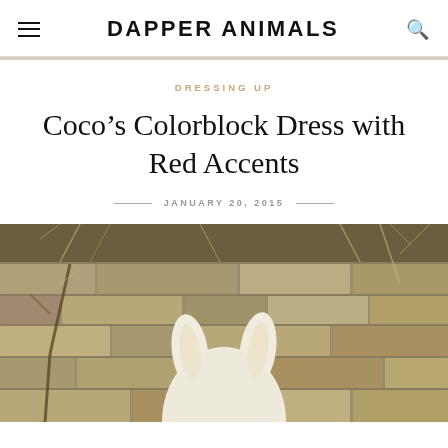DAPPER ANIMALS
DRESSING UP
Coco’s Colorblock Dress with Red Accents
JANUARY 20, 2015
[Figure (photo): A white plush bunny toy photographed from behind against a rustic stone wall with bare twigs/vines. The bunny’s white ears and back are visible.]